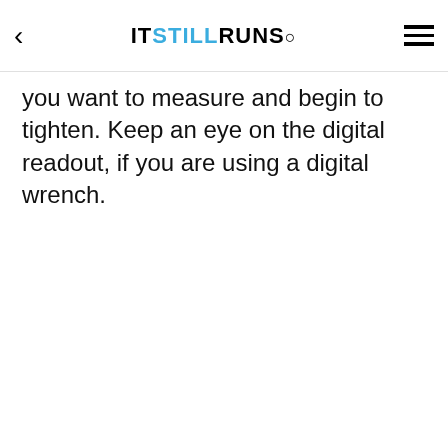IT STILL RUNS.
you want to measure and begin to tighten. Keep an eye on the digital readout, if you are using a digital wrench.